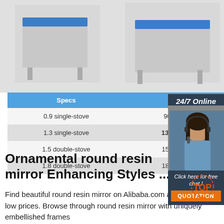[Figure (photo): Product photos of commercial gas stoves/ranges on a grey background]
| Specs | Product Size | Gas Am… |
| --- | --- | --- |
| 0.9 single-stove | 900*800*800mm | 2m³/h/sto |
| 1.3 single-stove | 1300*800*800mm |  |
| 1.5 double-stove | 1500*800*800mm |  |
| 1.8 double-stove | 1800*800*800mm |  |
[Figure (photo): Customer service representative with headset — 24/7 Online chat widget with QUOTATION button]
Ornamental round resin mirror Enhancing Styles ...
Find beautiful round resin mirror on Alibaba.com at enticingly low prices. Browse through round resin mirror with uniquely embellished frames